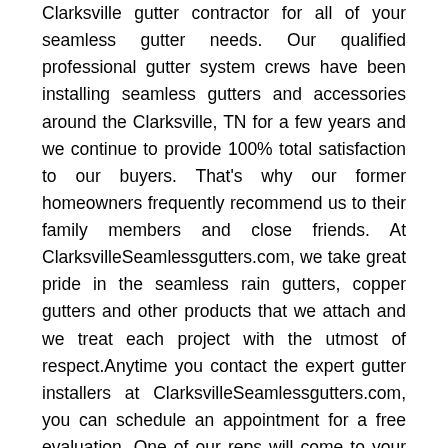Clarksville gutter contractor for all of your seamless gutter needs. Our qualified professional gutter system crews have been installing seamless gutters and accessories around the Clarksville, TN for a few years and we continue to provide 100% total satisfaction to our buyers. That's why our former homeowners frequently recommend us to their family members and close friends. At ClarksvilleSeamlessgutters.com, we take great pride in the seamless rain gutters, copper gutters and other products that we attach and we treat each project with the utmost of respect.Anytime you contact the expert gutter installers at ClarksvilleSeamlessgutters.com, you can schedule an appointment for a free evaluation. One of our reps will come to your house and determine the cost of the project according to what you want us to do. We can put on high quality seamless gutters, half round gutters and other seamless rain gutters and accessories to customize the appearance of your home. We are certain that you will discover our prices very competitive and economical compared to other seamless gutter companies in the area. Our workmanship is good quality and we offer a guarantee on our products so you can expect them to stand up to the elements. If you are looking for a gutter company in town, contact...